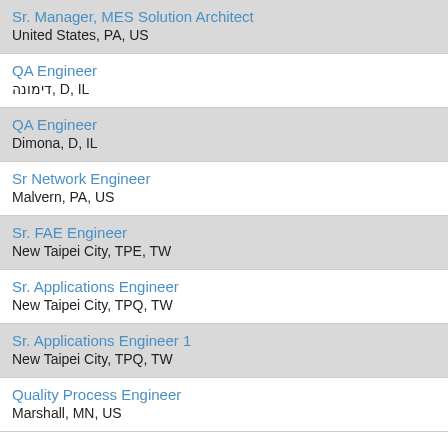Sr. Manager, MES Solution Architect
United States, PA, US
QA Engineer
דימונה, D, IL
QA Engineer
Dimona, D, IL
Sr Network Engineer
Malvern, PA, US
Sr. FAE Engineer
New Taipei City, TPE, TW
Sr. Applications Engineer
New Taipei City, TPQ, TW
Sr. Applications Engineer 1
New Taipei City, TPQ, TW
Quality Process Engineer
Marshall, MN, US